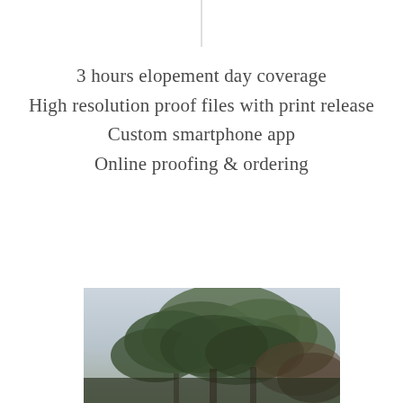3 hours elopement day coverage
High resolution proof files with print release
Custom smartphone app
Online proofing & ordering
$2500
[Figure (photo): Outdoor photo showing treetops against a light grey/overcast sky, taken from below looking up at dark leafy branches.]